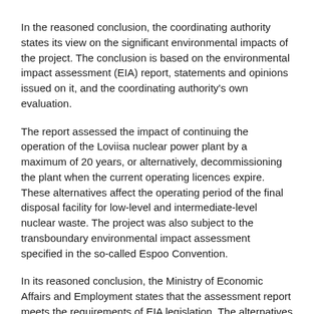In the reasoned conclusion, the coordinating authority states its view on the significant environmental impacts of the project. The conclusion is based on the environmental impact assessment (EIA) report, statements and opinions issued on it, and the coordinating authority's own evaluation.
The report assessed the impact of continuing the operation of the Loviisa nuclear power plant by a maximum of 20 years, or alternatively, decommissioning the plant when the current operating licences expire. These alternatives affect the operating period of the final disposal facility for low-level and intermediate-level nuclear waste. The project was also subject to the transboundary environmental impact assessment specified in the so-called Espoo Convention.
In its reasoned conclusion, the Ministry of Economic Affairs and Employment states that the assessment report meets the requirements of EIA legislation. The alternatives examined were not found to have such significant adverse environmental impacts that could not be accepted, prevented or mitigated to an acceptable level.